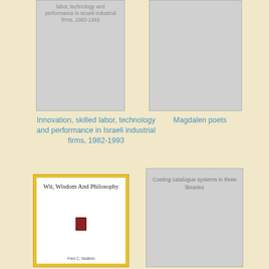[Figure (illustration): Book cover placeholder (grey) for 'Innovation, skilled labor, technology and performance in Israeli industrial firms, 1982-1993' with partial title text visible at top]
[Figure (illustration): Book cover placeholder (grey) with no visible title text, for Magdalen poets]
Innovation, skilled labor, technology and performance in Israeli industrial firms, 1982-1993
Magdalen poets
[Figure (illustration): Book cover with yellow border and white interior showing 'Wit, Wisdom And Philosophy' with small red emblem and partial author name 'Fred C. Mullinin']
[Figure (illustration): Book cover placeholder (grey) with text 'Costing catalogue systems in three libraries']
Costing catalogue systems in three libraries